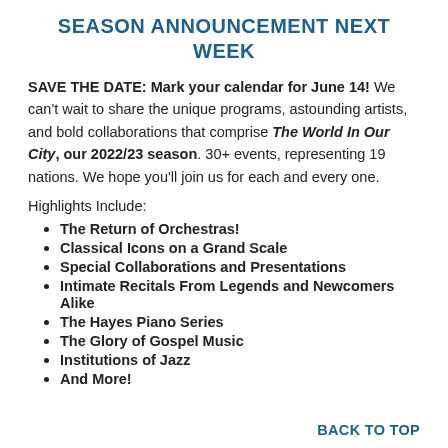SEASON ANNOUNCEMENT NEXT WEEK
SAVE THE DATE: Mark your calendar for June 14! We can't wait to share the unique programs, astounding artists, and bold collaborations that comprise The World In Our City, our 2022/23 season. 30+ events, representing 19 nations. We hope you'll join us for each and every one.
Highlights Include:
The Return of Orchestras!
Classical Icons on a Grand Scale
Special Collaborations and Presentations
Intimate Recitals From Legends and Newcomers Alike
The Hayes Piano Series
The Glory of Gospel Music
Institutions of Jazz
And More!
BACK TO TOP